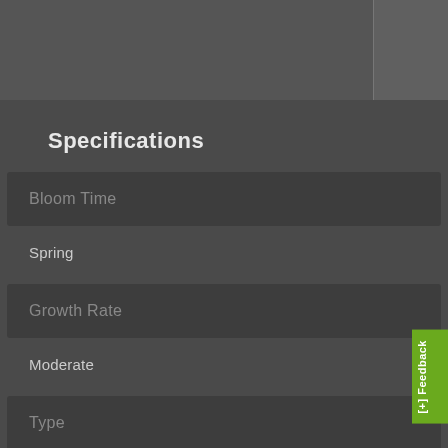Specifications
| Bloom Time | Growth Rate | Type |
| --- | --- | --- |
| Spring |
| Moderate |
| Shade |